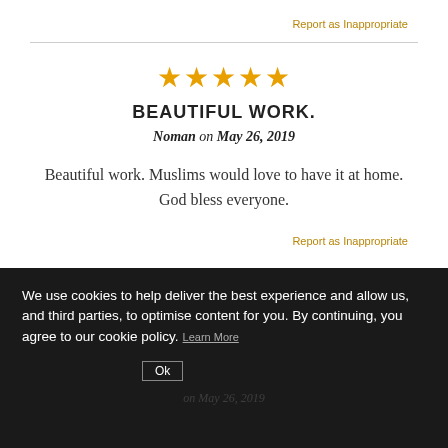Report as Inappropriate
★★★★★
BEAUTIFUL WORK.
Noman on May 26, 2019
Beautiful work. Muslims would love to have it at home. God bless everyone.
Report as Inappropriate
We use cookies to help deliver the best experience and allow us, and third parties, to optimise content for you. By continuing, you agree to our cookie policy. Learn More
Ok